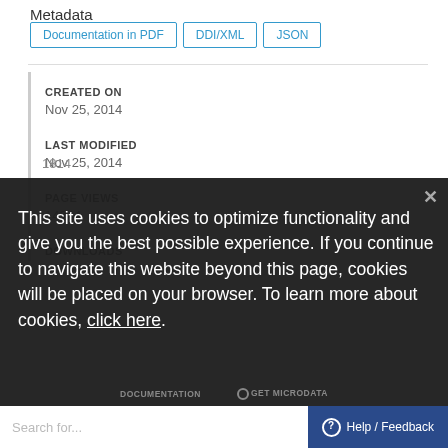Metadata
Documentation in PDF  DDI/XML  JSON
CREATED ON
Nov 25, 2014
LAST MODIFIED
Nov 25, 2014
PAGE VIEWS
14244
DOWNLOADS
1814
This site uses cookies to optimize functionality and give you the best possible experience. If you continue to navigate this website beyond this page, cookies will be placed on your browser. To learn more about cookies, click here.
DOCUMENTATION  GET MICRODATA
Search for...  Help / Feedback